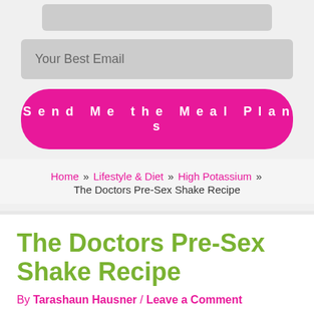[Figure (screenshot): Gray input field bar at top (partially visible)]
Your Best Email
Send Me the Meal Plans
Home » Lifestyle & Diet » High Potassium » The Doctors Pre-Sex Shake Recipe
The Doctors Pre-Sex Shake Recipe
By Tarashaun Hausner / Leave a Comment
[Figure (other): Social share buttons: Facebook, Pinterest, Email/share, and another share button, plus share count 312]